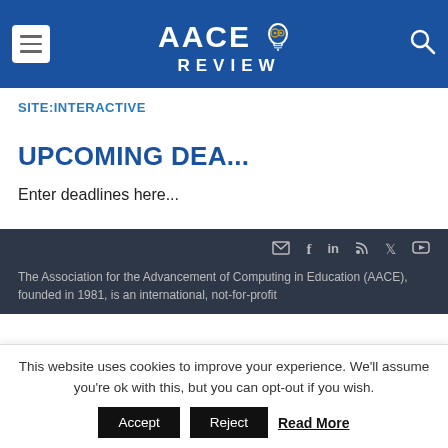AACE REVIEW [logo with lightbulb and gears]
SITE:INTERACTIVE
UPCOMING DEA...
Enter deadlines here...
The Association for the Advancement of Computing in Education (AACE), founded in 1981, is an international, not-for-profit
This website uses cookies to improve your experience. We'll assume you're ok with this, but you can opt-out if you wish.